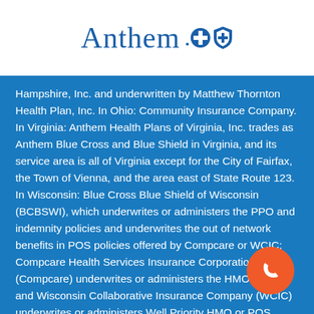[Figure (logo): Anthem Blue Cross Blue Shield logo in blue on white background]
Hampshire, Inc. and underwritten by Matthew Thornton Health Plan, Inc. In Ohio: Community Insurance Company. In Virginia: Anthem Health Plans of Virginia, Inc. trades as Anthem Blue Cross and Blue Shield in Virginia, and its service area is all of Virginia except for the City of Fairfax, the Town of Vienna, and the area east of State Route 123. In Wisconsin: Blue Cross Blue Shield of Wisconsin (BCBSWI), which underwrites or administers the PPO and indemnity policies and underwrites the out of network benefits in POS policies offered by Compcare or WCIC; Compcare Health Services Insurance Corporation (Compcare) underwrites or administers the HMO policies and Wisconsin Collaborative Insurance Company (WCIC) underwrites or administers Well Priority HMO or POS policies.
[Figure (other): Orange circular phone/call button in bottom right corner]